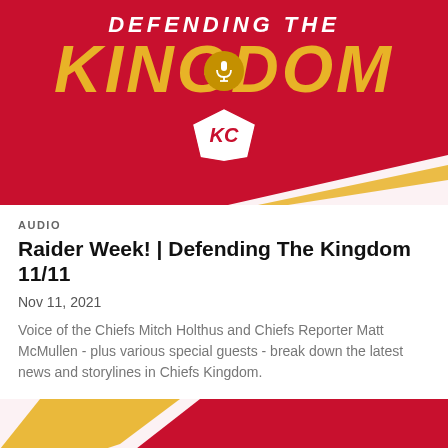[Figure (illustration): Kansas City Chiefs 'Defending The Kingdom' podcast cover art. Red background with large gold 'KINGDOM' text in italic, white 'DEFENDING THE' text above, KC Chiefs arrowhead logo below, and a gold microphone circle icon.]
AUDIO
Raider Week! | Defending The Kingdom 11/11
Nov 11, 2021
Voice of the Chiefs Mitch Holthus and Chiefs Reporter Matt McMullen - plus various special guests - break down the latest news and storylines in Chiefs Kingdom.
[Figure (illustration): Partial preview of another 'Defending The' podcast cover card at the bottom of the page.]